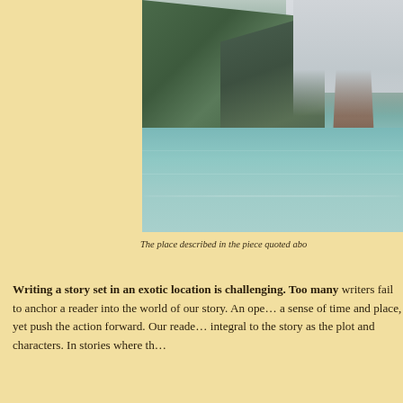[Figure (photo): Photograph of an exotic coastal location with large limestone karst cliffs covered in green vegetation on the left, a tall narrow rock pinnacle rising from calm turquoise-green water on the right, under an overcast sky — appears to be James Bond Island (Khao Phing Kan) in Phang Nga Bay, Thailand.]
The place described in the piece quoted abo...
Writing a story set in an exotic location is challenging. Too many writers fail to anchor a reader into the world of our story. An opening scene should create a sense of time and place, yet push the action forward. Our reader needs to feel the location is as integral to the story as the plot and characters. In stories where th...